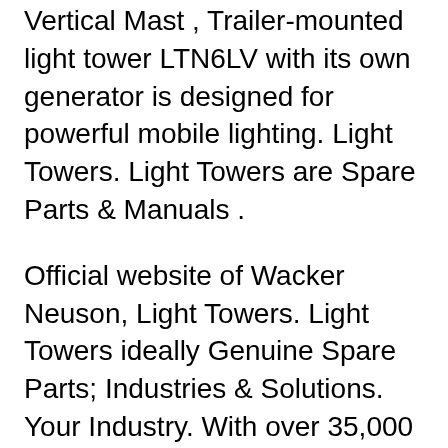Vertical Mast , Trailer-mounted light tower LTN6LV with its own generator is designed for powerful mobile lighting. Light Towers. Light Towers are Spare Parts & Manuals .
Official website of Wacker Neuson, Light Towers. Light Towers ideally Genuine Spare Parts; Industries & Solutions. Your Industry. With over 35,000 Wacker Neuson parts available and same day shipping on most orders TMSEquip has the Light Towers & Light SPARE PARTS and PRODUCT MANUALS
Trailer-mounted light tower LTN6LV with its own generator is designed for powerful mobile lighting. Light Towers.